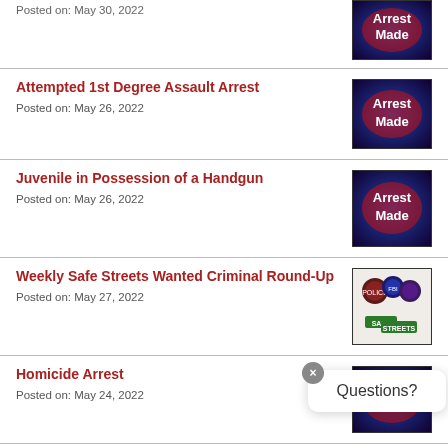Posted on: May 30, 2022
[Figure (illustration): Arrest Made badge - blue and red background with white text]
Attempted 1st Degree Assault Arrest
Posted on: May 26, 2022
[Figure (illustration): Arrest Made badge - blue and red background with white text]
Juvenile in Possession of a Handgun
Posted on: May 26, 2022
[Figure (illustration): Arrest Made badge - blue and red background with white text]
Weekly Safe Streets Wanted Criminal Round-Up
Posted on: May 27, 2022
[Figure (illustration): Safe Streets Round-Up logo with police badges and street signs]
Homicide Arrest
Posted on: May 24, 2022
[Figure (illustration): Arrest Made badge partially obscured by Questions? popup]
Suspicious Death Investigation
Posted on: May 23, 2022
[Figure (illustration): Death investigation image - dark background with yellow text]